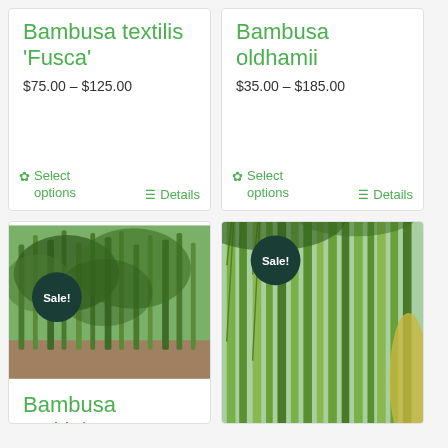Bambusa textilis 'Fusca'
$75.00 – $125.00
Select options
Details
Bambusa oldhamii
$35.00 – $185.00
Select options
Details
[Figure (photo): Photo of bamboo plants in garden with Sale! badge]
Bambusa multiplex
[Figure (photo): Photo of tall bamboo stalks in garden with Sale! badge]